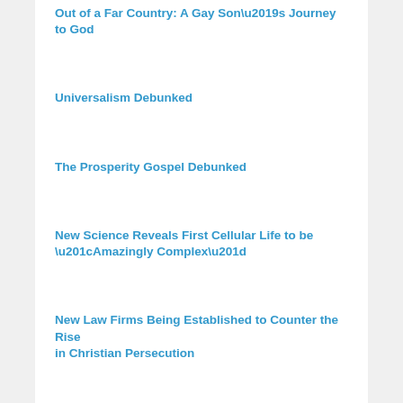Out of a Far Country: A Gay Son's Journey to God
Universalism Debunked
The Prosperity Gospel Debunked
New Science Reveals First Cellular Life to be “Amazingly Complex”
New Law Firms Being Established to Counter the Rise in Christian Persecution